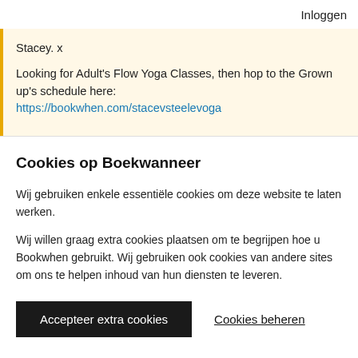Inloggen
Stacey. x

Looking for Adult's Flow Yoga Classes, then hop to the Grown up's schedule here:
https://bookwhen.com/stacevsteelevoga
Cookies op Boekwanneer
Wij gebruiken enkele essentiële cookies om deze website te laten werken.
Wij willen graag extra cookies plaatsen om te begrijpen hoe u Bookwhen gebruikt. Wij gebruiken ook cookies van andere sites om ons te helpen inhoud van hun diensten te leveren.
Accepteer extra cookies
Cookies beheren